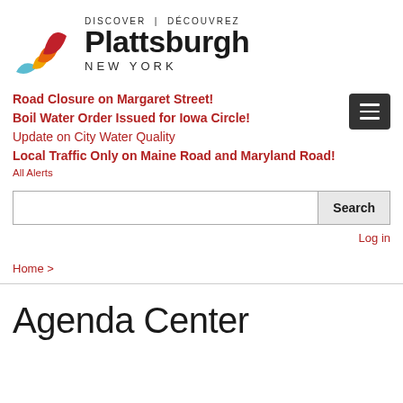[Figure (logo): Discover Plattsburgh New York logo with flame/leaf graphic in red, orange, yellow, and blue]
Road Closure on Margaret Street!
Boil Water Order Issued for Iowa Circle!
Update on City Water Quality
Local Traffic Only on Maine Road and Maryland Road!
All Alerts
Search
Log in
Home >
Agenda Center